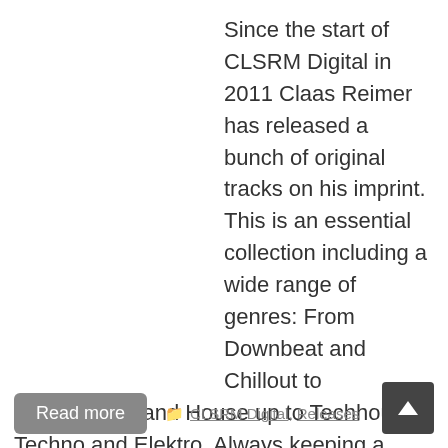Since the start of CLSRM Digital in 2011 Claas Reimer has released a bunch of original tracks on his imprint. This is an essential collection including a wide range of genres: From Downbeat and Chillout to Deep House and House up to Techhouse, Techno and Elektro. Always keeping a focus on a minimal spirit as well as one eye to the dancefloor. Get it on Bandcamp Get it on iTunes Get it on Junodownload Get it on Beatport Get it
Read more
CLSRM Digital, Releases